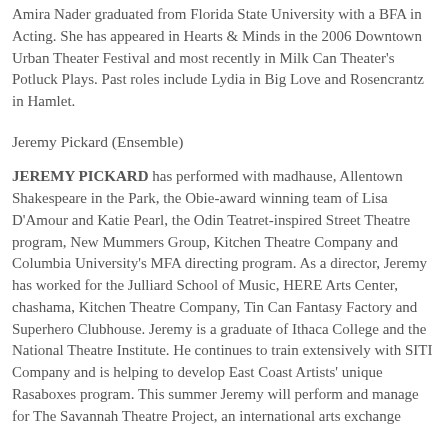Amira Nader graduated from Florida State University with a BFA in Acting. She has appeared in Hearts & Minds in the 2006 Downtown Urban Theater Festival and most recently in Milk Can Theater's Potluck Plays. Past roles include Lydia in Big Love and Rosencrantz in Hamlet.
Jeremy Pickard (Ensemble)
JEREMY PICKARD has performed with madhause, Allentown Shakespeare in the Park, the Obie-award winning team of Lisa D'Amour and Katie Pearl, the Odin Teatret-inspired Street Theatre program, New Mummers Group, Kitchen Theatre Company and Columbia University's MFA directing program. As a director, Jeremy has worked for the Julliard School of Music, HERE Arts Center, chashama, Kitchen Theatre Company, Tin Can Fantasy Factory and Superhero Clubhouse. Jeremy is a graduate of Ithaca College and the National Theatre Institute. He continues to train extensively with SITI Company and is helping to develop East Coast Artists' unique Rasaboxes program. This summer Jeremy will perform and manage for The Savannah Theatre Project, an international arts exchange